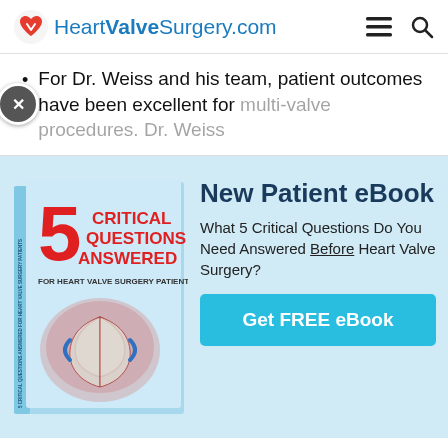HeartValveSurgery.com
For Dr. Weiss and his team, patient outcomes have been excellent for multi-valve procedures. Dr. Weiss
[Figure (illustration): Book cover: 5 Critical Questions Answered For Heart Valve Surgery Patients, with anatomical heart valve illustration]
New Patient eBook
What 5 Critical Questions Do You Need Answered Before Heart Valve Surgery?
Get FREE eBook